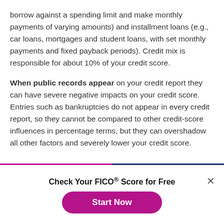borrow against a spending limit and make monthly payments of varying amounts) and installment loans (e.g., car loans, mortgages and student loans, with set monthly payments and fixed payback periods). Credit mix is responsible for about 10% of your credit score.
When public records appear on your credit report they can have severe negative impacts on your credit score. Entries such as bankruptcies do not appear in every credit report, so they cannot be compared to other credit-score influences in percentage terms, but they can overshadow all other factors and severely lower your credit score.
Check Your FICO® Score for Free
Start Now